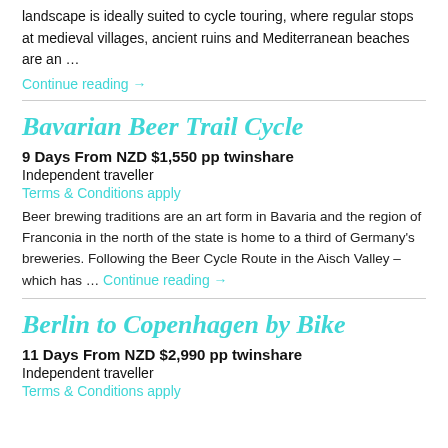landscape is ideally suited to cycle touring, where regular stops at medieval villages, ancient ruins and Mediterranean beaches are an …
Continue reading →
Bavarian Beer Trail Cycle
9 Days From NZD $1,550 pp twinshare
Independent traveller
Terms & Conditions apply
Beer brewing traditions are an art form in Bavaria and the region of Franconia in the north of the state is home to a third of Germany's breweries. Following the Beer Cycle Route in the Aisch Valley – which has … Continue reading →
Berlin to Copenhagen by Bike
11 Days From NZD $2,990 pp twinshare
Independent traveller
Terms & Conditions apply